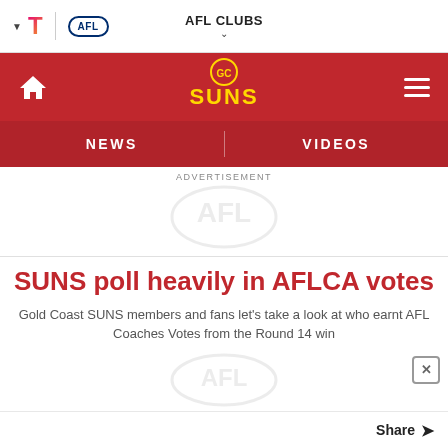AFL CLUBS
[Figure (logo): GC Suns logo on red navigation banner with home icon and hamburger menu]
NEWS   VIDEOS
ADVERTISEMENT
[Figure (logo): AFL watermark logo (light grey, advertisement placeholder)]
SUNS poll heavily in AFLCA votes
Gold Coast SUNS members and fans let’s take a look at who earnt AFL Coaches Votes from the Round 14 win
[Figure (logo): AFL watermark logo (light grey, advertisement overlay with X close button)]
Share